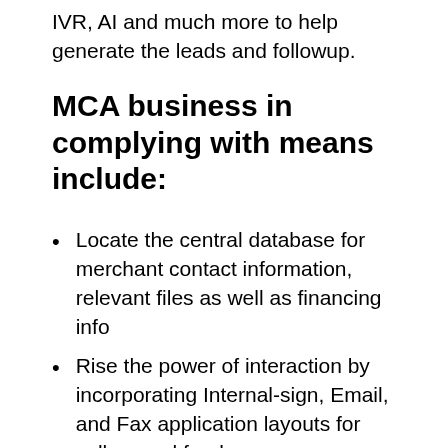IVR, AI and much more to help generate the leads and followup.
MCA business in complying with means include:
Locate the central database for merchant contact information, relevant files as well as financing info
Rise the power of interaction by incorporating Internal-sign, Email, and Fax application layouts for sellers and funders